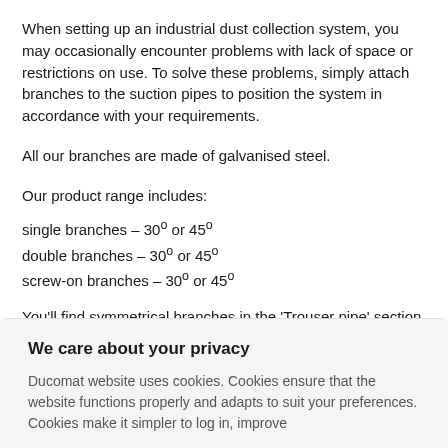When setting up an industrial dust collection system, you may occasionally encounter problems with lack of space or restrictions on use. To solve these problems, simply attach branches to the suction pipes to position the system in accordance with your requirements.
All our branches are made of galvanised steel.
Our product range includes:
single branches – 30° or 45°
double branches – 30° or 45°
screw-on branches – 30° or 45°
You'll find symmetrical branches in the 'Trouser pipe' section.
We care about your privacy
Ducomat website uses cookies. Cookies ensure that the website functions properly and adapts to suit your preferences. Cookies make it simpler to log in, improve